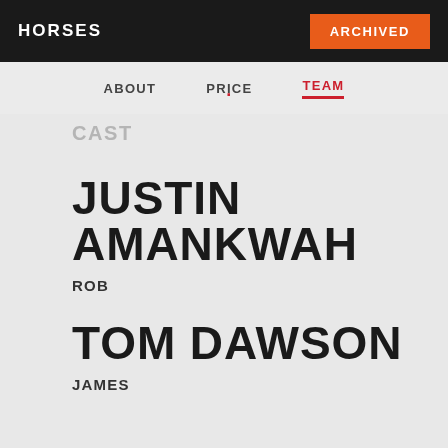HORSES
ARCHIVED
ABOUT  PRICE  TEAM
CAST
JUSTIN AMANKWAH
ROB
TOM DAWSON
JAMES